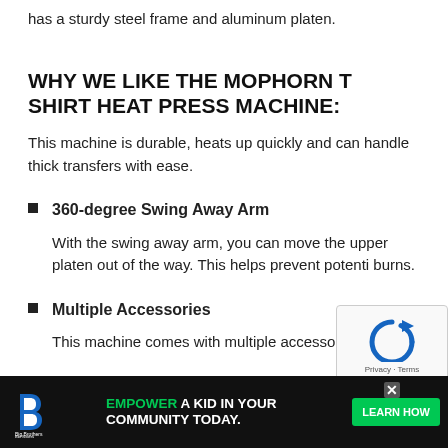has a sturdy steel frame and aluminum platen.
WHY WE LIKE THE MOPHORN T SHIRT HEAT PRESS MACHINE:
This machine is durable, heats up quickly and can handle thick transfers with ease.
360-degree Swing Away Arm
With the swing away arm, you can move the upper platen out of the way. This helps prevent potential burns.
Multiple Accessories
This machine comes with multiple accessories, so you